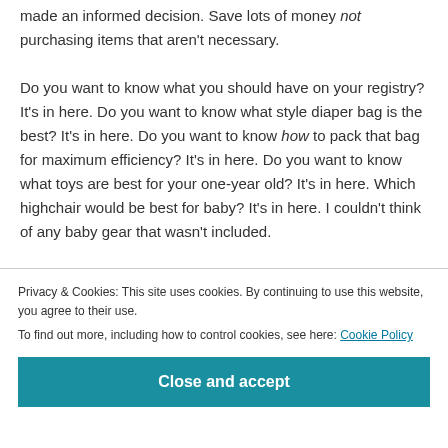made an informed decision. Save lots of money not purchasing items that aren't necessary.
Do you want to know what you should have on your registry? It's in here. Do you want to know what style diaper bag is the best? It's in here. Do you want to know how to pack that bag for maximum efficiency? It's in here. Do you want to know what toys are best for your one-year old? It's in here. Which highchair would be best for baby? It's in here. I couldn't think of any baby gear that wasn't included.
Privacy & Cookies: This site uses cookies. By continuing to use this website, you agree to their use.
To find out more, including how to control cookies, see here: Cookie Policy
Close and accept